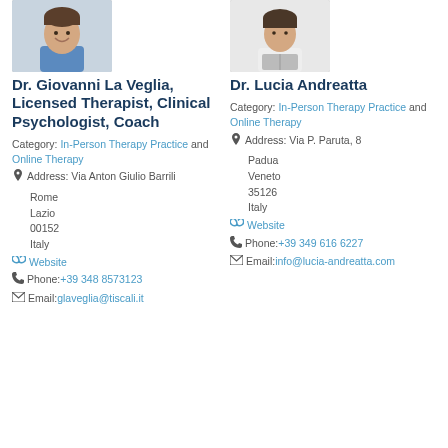[Figure (photo): Profile photo of Dr. Giovanni La Veglia, a smiling man in blue shirt]
[Figure (photo): Profile photo of Dr. Lucia Andreatta, a woman reading a book]
Dr. Giovanni La Veglia, Licensed Therapist, Clinical Psychologist, Coach
Dr. Lucia Andreatta
Category: In-Person Therapy Practice and Online Therapy
Category: In-Person Therapy Practice and Online Therapy
Address: Via Anton Giulio Barrili
Rome
Lazio
00152
Italy
Address: Via P. Paruta, 8
Padua
Veneto
35126
Italy
Website
Website
Phone: +39 348 8573123
Phone: +39 349 616 6227
Email: glaveglia@tiscali.it
Email: info@lucia-andreatta.com